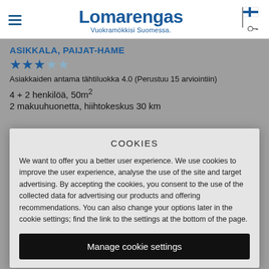Lomarengas — Vuokramökkisi Suomessa.
ASIKKALA, PAIJAT-HAME
★★★☆☆
Asiakkaiden antama tähtiluokka 4.0 (Perustuu 15 arviointiin)
4 + 2 henkilöä, 50m²
2 makuuhuonetta, hiihtokeskus 30 km
COOKIES
We want to offer you a better user experience. We use cookies to improve the user experience, analyse the use of the site and target advertising. By accepting the cookies, you consent to the use of the collected data for advertising our products and offering recommendations. You can also change your options later in the cookie settings; find the link to the settings at the bottom of the page.
Manage cookie settings